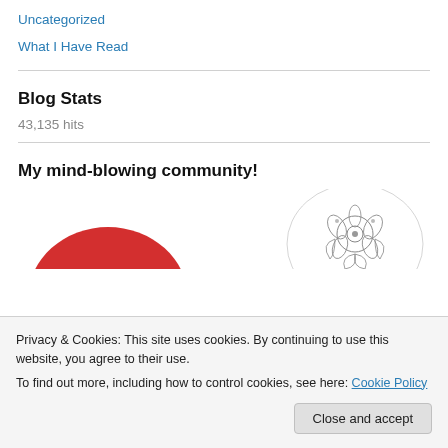Uncategorized
What I Have Read
Blog Stats
43,135 hits
My mind-blowing community!
[Figure (illustration): Two partially visible circular images: a red circle on the left and a floral/botanical illustration on the right]
Privacy & Cookies: This site uses cookies. By continuing to use this website, you agree to their use.
To find out more, including how to control cookies, see here: Cookie Policy